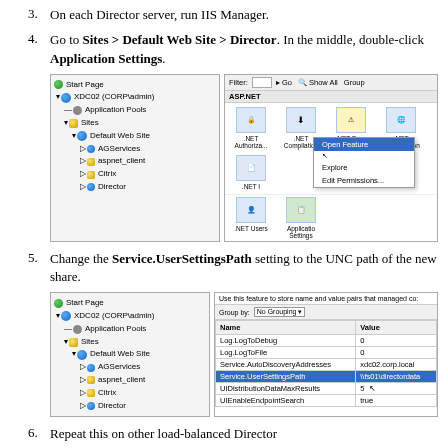3. On each Director server, run IIS Manager.
4. Go to Sites > Default Web Site > Director. In the middle, double-click Application Settings.
[Figure (screenshot): IIS Manager screenshot showing left tree panel with Start Page, XDC02 (CORP\admin), Application Pools, Sites, Default Web Site, AGServices, aspnet_client, Citrix, Director; and right panel showing ASP.NET section with .NET Authorization, .NET Compilation, .NET Error Pages, .NET Globalization, .NET I icons, and .NET Users, Application Settings icons with context menu showing Open Feature (highlighted), Explore, Edit Permissions...]
5. Change the Service.UserSettingsPath setting to the UNC path of the new share.
[Figure (screenshot): IIS Manager screenshot showing left tree panel same as above, and right panel showing Application Settings feature with table: Name/Value columns, rows: Log.LogToDebug=0, Log.LogToFile=0, Service.AutoDiscoveryAddresses=xdc02.corp.local, Service.UserSettingsPath=\\fs01\directordata (highlighted), UIDistributionDataMaxResults=5, UIEnableEndpointSearch=true]
6. Repeat this on other load-balanced Director